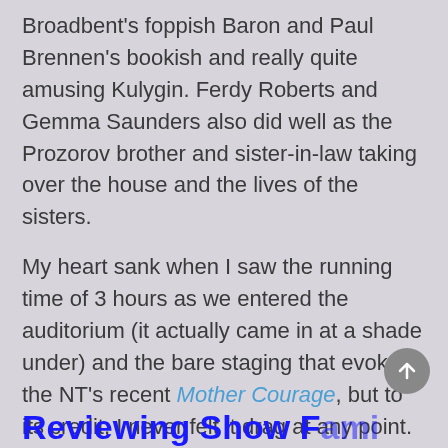Broadbent's foppish Baron and Paul Brennen's bookish and really quite amusing Kulygin. Ferdy Roberts and Gemma Saunders also did well as the Prozorov brother and sister-in-law taking over the house and the lives of the sisters.
My heart sank when I saw the running time of 3 hours as we entered the auditorium (it actually came in at a shade under) and the bare staging that evokes the NT's recent Mother Courage, but to its credit, I never felt it drag at any point. It is engaging enough and well-acted but not one that particularly moved me or my sluggard pulse, a comment on the play more than the production I feel.
Reviewing Show Familia...